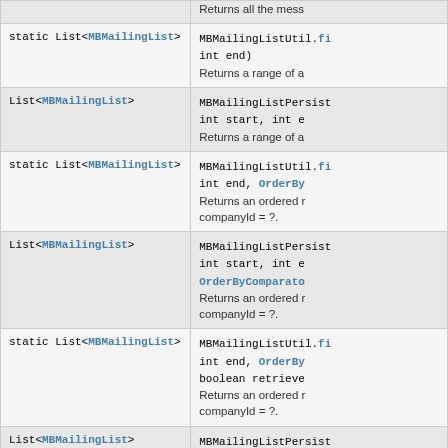| Return Type | Method / Description |
| --- | --- |
|  | Returns all the mess… |
| static List<MBMailingList> | MBMailingListUtil.fi… int end)
Returns a range of a… |
| List<MBMailingList> | MBMailingListPersist… int start, int e…
Returns a range of a… |
| static List<MBMailingList> | MBMailingListUtil.fi… int end, OrderBy…
Returns an ordered r… companyId = ?. |
| List<MBMailingList> | MBMailingListPersist… int start, int e… OrderByComparato…
Returns an ordered r… companyId = ?. |
| static List<MBMailingList> | MBMailingListUtil.fi… int end, OrderBy… boolean retrieve…
Returns an ordered r… companyId = ?. |
| List<MBMailingList> | MBMailingListPersist… int start, int e… OrderByComparato… boolean retrieve…
Returns an ordered r… companyId = ?. |